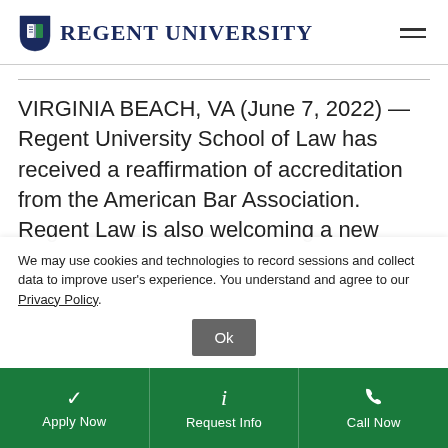Regent University
VIRGINIA BEACH, VA (June 7, 2022) — Regent University School of Law has received a reaffirmation of accreditation from the American Bar Association. Regent Law is also welcoming a new
We may use cookies and technologies to record sessions and collect data to improve user's experience. You understand and agree to our Privacy Policy.
Apply Now | Request Info | Call Now